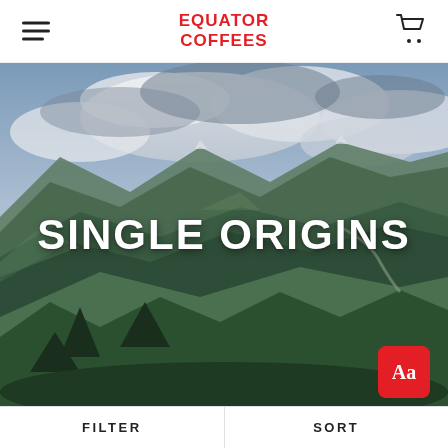EQUATOR COFFEES
[Figure (photo): Aerial landscape photo of lush green mountainous terrain with coffee plants in the foreground, rolling hills and mountains in the background under a dramatic cloudy sky]
SINGLE ORIGINS
FILTER   SORT